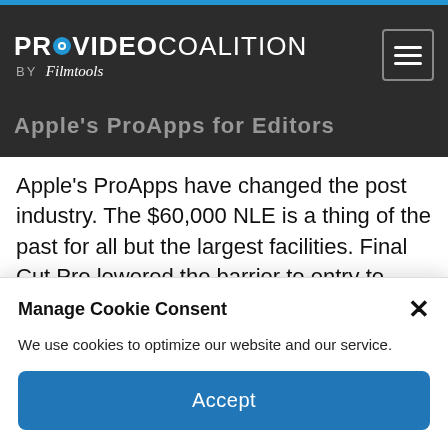PROVIDEO COALITION BY Filmtools
Apple's ProApps for Editors
Apple's ProApps have changed the post industry. The $60,000 NLE is a thing of the past for all but the largest facilities. Final Cut Pro lowered the barrier to entry to professional editing. We can argue the merits of lower prices and increased competition, but the change in the industry has been profound and is permanent.
Manage Cookie Consent
We use cookies to optimize our website and our service.
Accept